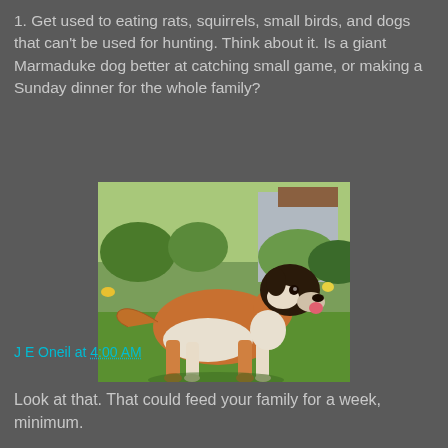1. Get used to eating rats, squirrels, small birds, and dogs that can't be used for hunting. Think about it. Is a giant Marmaduke dog better at catching small game, or making a Sunday dinner for the whole family?
[Figure (photo): A large Saint Bernard dog standing on a lawn in a garden, viewed from the side. The dog has brown and white markings.]
Look at that. That could feed your family for a week, minimum.
J E Oneil at 4:00 AM
Share